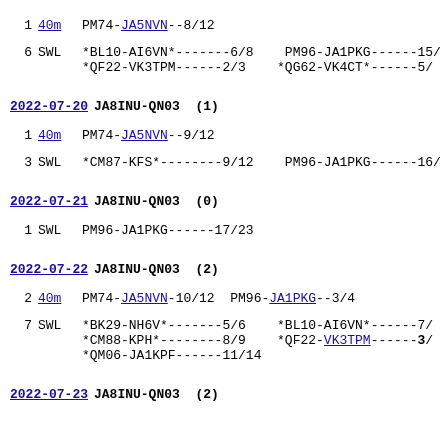1  40m  PM74-JA5NVN--8/12
6  SWL  *BL10-AI6VN*-------6/8   PM96-JA1PKG------15/
        *QF22-VK3TPM------2/3   *QG62-VK4CT*------5/
2022-07-20  JA8INU-QN03  (1)
1  40m  PM74-JA5NVN--9/12
3  SWL  *CM87-KFS*--------9/12   PM96-JA1PKG------16/
2022-07-21  JA8INU-QN03  (0)
1  SWL  PM96-JA1PKG------17/23
2022-07-22  JA8INU-QN03  (2)
2  40m  PM74-JA5NVN-10/12  PM96-JA1PKG--3/4
7  SWL  *BK29-NH6V*-------5/6   *BL10-AI6VN*------7/
        *CM88-KPH*--------8/9   *QF22-VK3TPM------3/
        *QM06-JA1KPF------11/14
2022-07-23  JA8INU-QN03  (2)